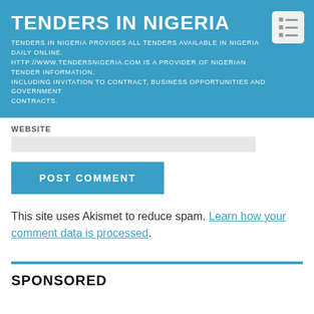TENDERS IN NIGERIA
TENDERS IN NIGERIA PROVIDES ALL TENDERS AVAILABLE IN NIGERIA DAILY ONLINE. HTTP://WWW.TENDERSNIGERIA.COM IS A PROVIDER OF NIGERIAN TENDER INFORMATION, INCLUDING INVITATION TO CONTRACT, BUSINESS OPPORTUNITIES AND GOVERNMENT CONTRACTS.
WEBSITE
POST COMMENT
This site uses Akismet to reduce spam. Learn how your comment data is processed.
SPONSORED